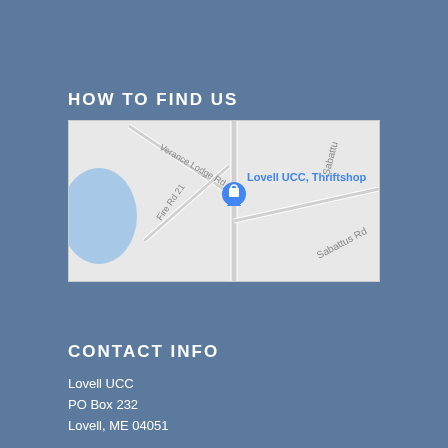HOW TO FIND US
[Figure (map): Google Maps view showing Lovell UCC Thriftshop location with roads including Verance Lodge Rd, Fire Rd 21, and Sabattus Rd. A blue location pin marks the thriftshop.]
CONTACT INFO
Lovell UCC
PO Box 232
Lovell, ME 04051